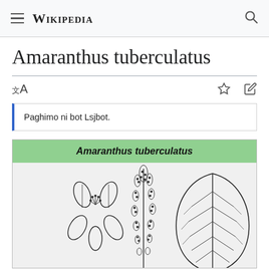Wikipedia
Amaranthus tuberculatus
Paghimo ni bot Lsjbot.
[Figure (illustration): Botanical illustration of Amaranthus tuberculatus showing flower, spike, and leaf details in black and white line drawing]
Amaranthus tuberculatus